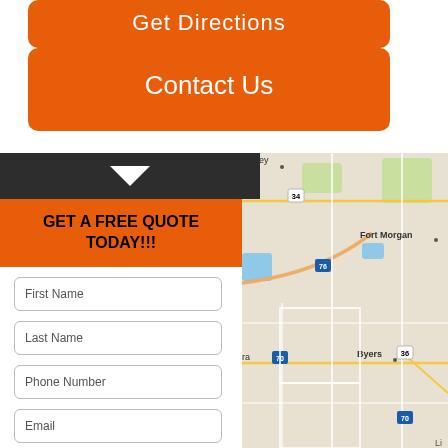Get Directions
Contact Us
GET A FREE QUOTE TODAY!!!
First Name
Last Name
Phone Number
Email
SUBMIT
VOID WHERE PROHIBITED.
[Figure (map): Road map showing area around Fort Morgan, Byers, and Greeley in Colorado. Shows highways 34, 76, 70, 36 and surrounding roads.]